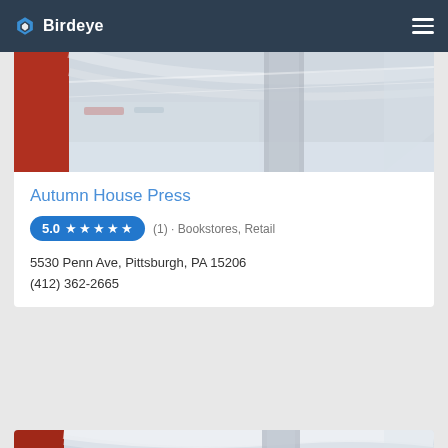Birdeye
[Figure (photo): Interior photo of a shopping mall with multiple floors, escalators, bright lighting, and a large cylindrical column.]
Autumn House Press
5.0 ★★★★★ (1) · Bookstores, Retail
5530 Penn Ave, Pittsburgh, PA 15206
(412) 362-2665
[Figure (photo): Interior photo of a shopping mall with multiple floors, curved white ceilings, and a large cylindrical column — same mall as above.]
CALL SALES